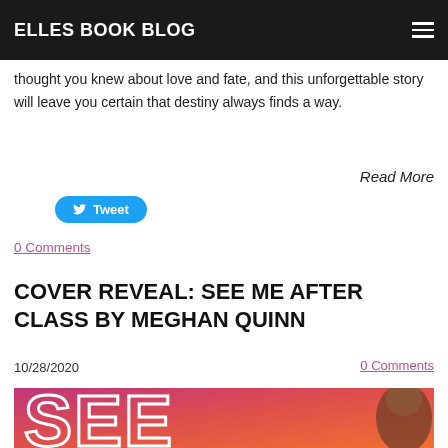ELLES BOOK BLOG
thought you knew about love and fate, and this unforgettable story will leave you certain that destiny always finds a way.
Read More
Tweet
0 Comments
COVER REVEAL: SEE ME AFTER CLASS BY MEGHAN QUINN
10/28/2020
0 Comments
[Figure (photo): Book cover for 'See Me After Class' by Meghan Quinn — pink and orange gradient background with partial title text 'SEE' visible in large white outlined letters, and a person's head/hair visible at the right edge.]